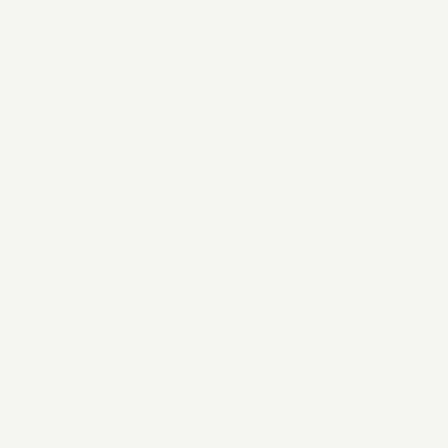| Thread | Author |
| --- | --- |
| Re: Not-really-brag-so-much-as-quirky-anecdote thread | mckinley |
| Re: Not-really-brag-so-much-as-quirky-anecdote thread | greenlotu |
| Re: Not-really-brag-so-much-as-quirky-anecdote thread | aeh |
| Re: Not-really-brag-so-much-as-quirky-anecdote thread | KJP |
| Re: Not-really-brag-so-much-as-quirky-anecdote thread | aeh |
| Re: Not-really-brag-so-much-as-quirky-anecdote thread | Platypus1 |
| Re: Not-really-brag-so-much-as-quirky-anecdote thread | Platypus1 |